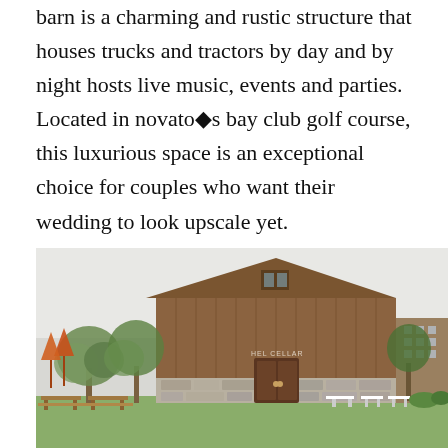barn is a charming and rustic structure that houses trucks and tractors by day and by night hosts live music, events and parties. Located in novato◆s bay club golf course, this luxurious space is an exceptional choice for couples who want their wedding to look upscale yet.
[Figure (photo): Exterior photo of a large rustic wooden barn building with a peaked roof, stone facade at ground level, olive trees in front, white event tables on the lawn, and orange patio umbrellas to the left. Sign reads 'HEL CELLAR'.]